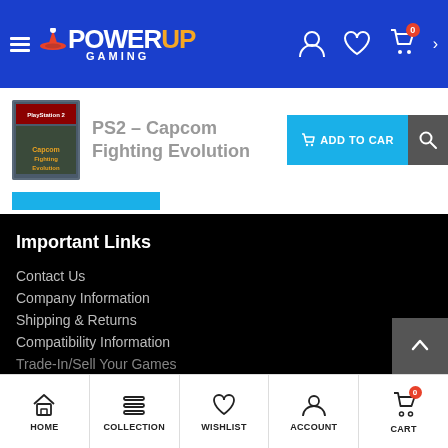PowerUp Gaming - website header with logo, navigation icons, cart with 0 items
PS2 – Capcom Fighting Evolution
[Figure (screenshot): PS2 Capcom Fighting Evolution game cover art thumbnail]
Important Links
Contact Us
Company Information
Shipping & Returns
Compatibility Information
Trade-In/Sell Your Games
HOME | COLLECTION | WISHLIST | ACCOUNT | CART (0)